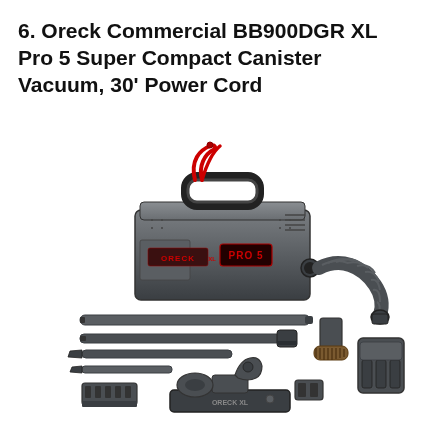6. Oreck Commercial BB900DGR XL Pro 5 Super Compact Canister Vacuum, 30' Power Cord
[Figure (photo): Oreck Commercial BB900DGR XL Pro 5 Super Compact Canister Vacuum shown with its full set of attachments including hose, extension wands, crevice tool, dusting brush, floor brush and other accessories, all in dark charcoal/grey color.]